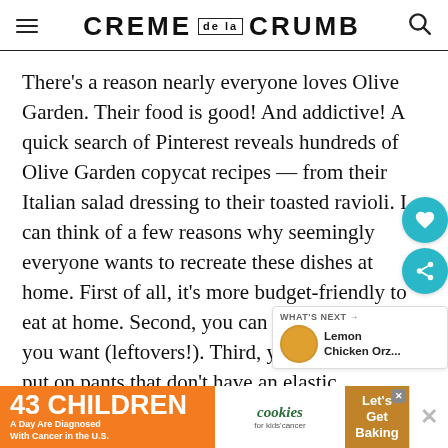CREME DE LA CRUMB
There's a reason nearly everyone loves Olive Garden. Their food is good! And addictive! A quick search of Pinterest reveals hundreds of Olive Garden copycat recipes — from their Italian salad dressing to their toasted ravioli. I can think of a few reasons why seemingly everyone wants to recreate these dishes at home. First of all, it's more budget-friendly to eat at home. Second, you can make as much as you want (leftovers!). Third, you don't have to put on pants that don't have an elastic waistband and drive to the restaurant when a craving hits. And fou... to sit. I
[Figure (other): Advertisement banner: '43 CHILDREN A Day Are Diagnosed With Cancer in the U.S.' with cookies for kids' cancer and Let's Get Baking sections]
[Figure (other): What's Next widget showing Lemon Chicken Orz... with food thumbnail]
[Figure (other): Floating action buttons: heart (save) and share icons in teal circles]